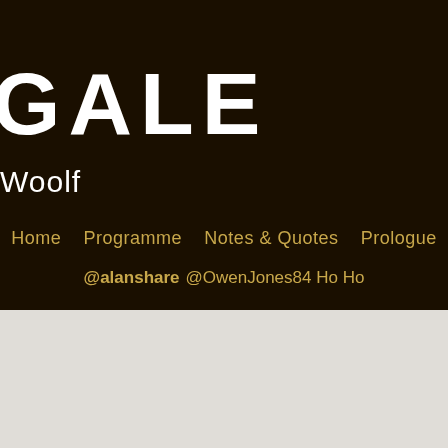GALE
Woolf
Home  Programme  Notes & Quotes  Prologue
@alanshare @OwenJones84 Ho Ho
BLOG
Read All About It!
Do’s and Don’ts for Human Rights Lawyer